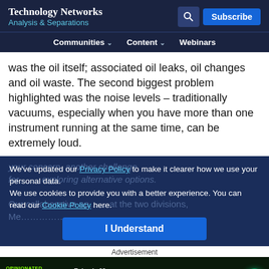Technology Networks
Analysis & Separations
Communities  Content  Webinars
was the oil itself; associated oil leaks, oil changes and oil waste. The second biggest problem highlighted was the noise levels – traditionally vacuums, especially when you have more than one instrument running at the same time, can be extremely loud.
We've updated our Privacy Policy to make it clearer how we use your personal data.
We use cookies to provide you with a better experience. You can read our Cookie Policy here.
I Understand
Advertisement
[Figure (other): Opinionated Science podcast advertisement banner. Episode 02: Reacting to Bias in STEM. Listen to the Podcast button.]